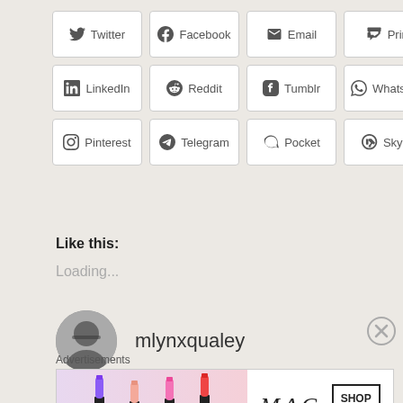[Figure (screenshot): Social share buttons grid with Twitter, Facebook, Email, Print, LinkedIn, Reddit, Tumblr, WhatsApp, Pinterest, Telegram, Pocket, Skype]
Like this:
Loading...
mlynxqualey
Advertisements
[Figure (photo): MAC cosmetics advertisement banner with lipsticks and SHOP NOW button]